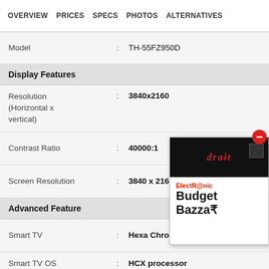OVERVIEW   PRICES   SPECS   PHOTOS   ALTERNATIVES
| Model | : | TH-55FZ950D |
| Display Features |  |  |
| Resolution (Horizontal x vertical) | : | 3840x2160 |
| Contrast Ratio | : | 40000:1 |
| Screen Resolution | : | 3840 x 2160 pixels |
| Advanced Feature |  |  |
| Smart TV | : | Hexa Chroma Dri... |
| Smart TV OS (Android, Web OS, etc.) | : | HCX processor |
| Sound Features |  |  |
[Figure (illustration): Advertisement box for ElectRonic Budget Bazzar with black top bar showing brand name in red italic text, white body with red 'ElectR@nic' text and bold 'Budget Bazzar' text with rupee symbol, red circle close/minus button in top right corner]